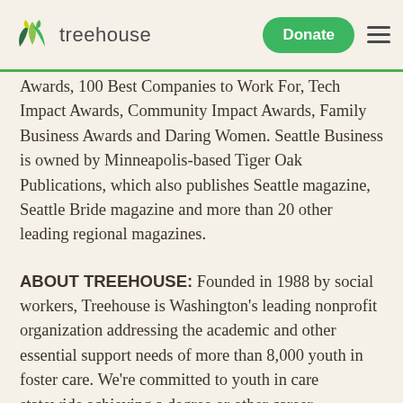[Figure (logo): Treehouse nonprofit logo with green leaf icon and wordmark 'treehouse', plus a green Donate button and hamburger menu on the right]
Awards, 100 Best Companies to Work For, Tech Impact Awards, Community Impact Awards, Family Business Awards and Daring Women. Seattle Business is owned by Minneapolis-based Tiger Oak Publications, which also publishes Seattle magazine, Seattle Bride magazine and more than 20 other leading regional magazines.
ABOUT TREEHOUSE: Founded in 1988 by social workers, Treehouse is Washington's leading nonprofit organization addressing the academic and other essential support needs of more than 8,000 youth in foster care. We're committed to youth in care statewide achieving a degree or other career credential, living wage job and stable housing at the same rate as their peers. With fierce optimism, we fight the structural